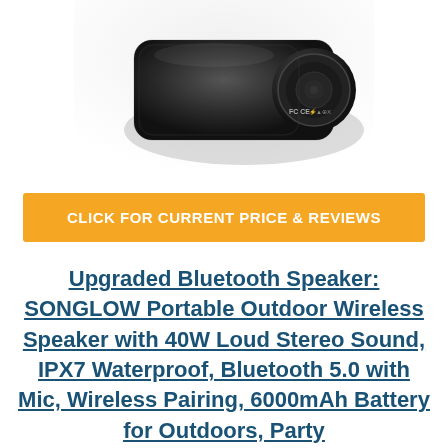[Figure (photo): Bottom/side view of a black cylindrical Bluetooth speaker showing FCC CE certification marks on the rear cap]
CLICK FOR CURRENT PRICE & REVIEWS
Upgraded Bluetooth Speaker: SONGLOW Portable Outdoor Wireless Speaker with 40W Loud Stereo Sound, IPX7 Waterproof, Bluetooth 5.0 with Mic, Wireless Pairing, 6000mAh Battery for Outdoors, Party